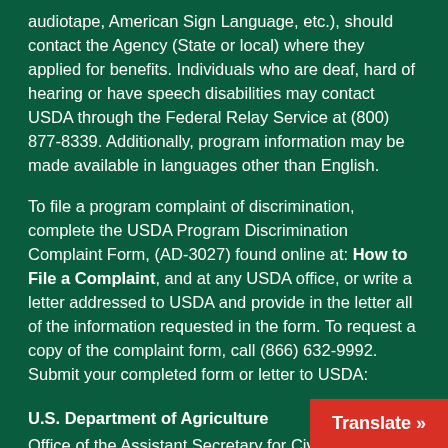audiotape, American Sign Language, etc.), should contact the Agency (State or local) where they applied for benefits. Individuals who are deaf, hard of hearing or have speech disabilities may contact USDA through the Federal Relay Service at (800) 877-8339. Additionally, program information may be made available in languages other than English.
To file a program complaint of discrimination, complete the USDA Program Discrimination Complaint Form, (AD-3027) found online at: How to File a Complaint, and at any USDA office, or write a letter addressed to USDA and provide in the letter all of the information requested in the form. To request a copy of the complaint form, call (866) 632-9992. Submit your completed form or letter to USDA:
U.S. Department of Agriculture
Office of the Assistant Secretary for Civil Rights
1400 Independence Avenue, SW
Washington, D.C. 20250-9410;